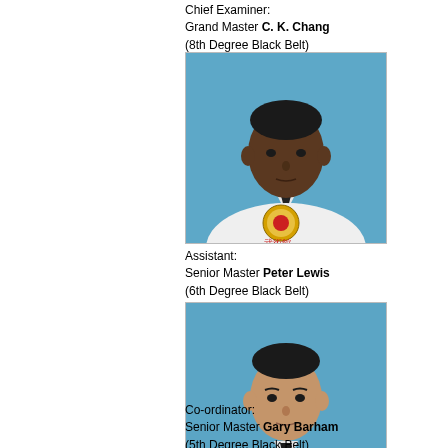Chief Examiner:
Grand Master C. K. Chang
(8th Degree Black Belt)
[Figure (photo): Portrait photo of Grand Master C. K. Chang in white martial arts uniform (dobok) with emblem, against blue background]
Assistant:
Senior Master Peter Lewis
(6th Degree Black Belt)
[Figure (photo): Portrait photo of Senior Master Peter Lewis in white martial arts uniform (dobok) with emblem, against blue background]
Co-ordinator:
Senior Master Gary Barham
(5th Degree Black Belt)